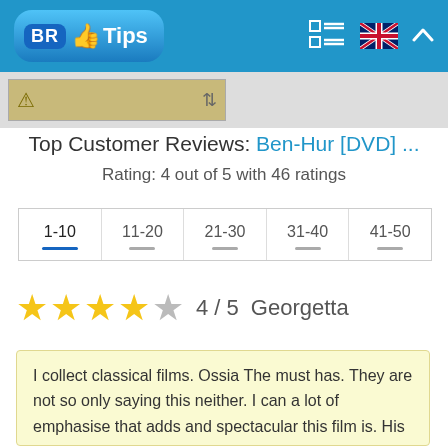BR Tips
[Figure (screenshot): Thumbnail image strip with warning triangle icon]
Top Customer Reviews: Ben-Hur [DVD] ...
Rating: 4 out of 5 with 46 ratings
| 1-10 | 11-20 | 21-30 | 31-40 | 41-50 |
| --- | --- | --- | --- | --- |
4 / 5   Georgetta
I collect classical films. Ossia The must has. They are not so only saying this neither. I can a lot of emphasise that adds and spectacular this film is. His one of a Golden Classics like any collector